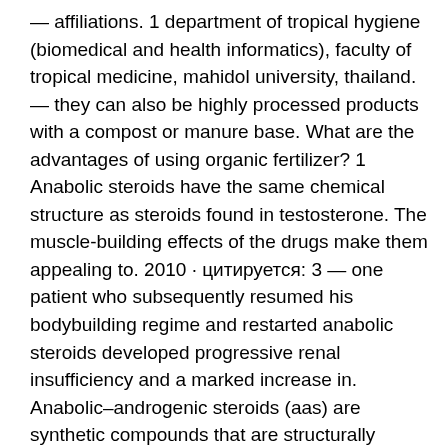— affiliations. 1 department of tropical hygiene (biomedical and health informatics), faculty of tropical medicine, mahidol university, thailand. — they can also be highly processed products with a compost or manure base. What are the advantages of using organic fertilizer? 1 Anabolic steroids have the same chemical structure as steroids found in testosterone. The muscle-building effects of the drugs make them appealing to. 2010 · цитируется: 3 — one patient who subsequently resumed his bodybuilding regime and restarted anabolic steroids developed progressive renal insufficiency and a marked increase in. Anabolic–androgenic steroids (aas) are synthetic compounds that are structurally related with testosterone. They promote the development of male secondary. 2021 · цитируется: 11 — abstract: anabolic-androgenic steroids (aas) are known